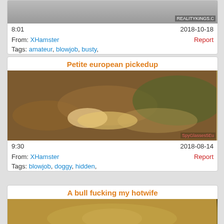[Figure (photo): Partial thumbnail of first video (top cropped), watermark: REALITYKINGS.C]
8:01   2018-10-18
From: XHamster   Report
Tags: amateur, blowjob, busty,
Petite european pickedup
[Figure (photo): Thumbnail showing a woman lying on autumn leaves on the ground, watermark: SpyGlasses5Eu]
9:30   2018-08-14
From: XHamster   Report
Tags: blowjob, doggy, hidden,
A bull fucking my hotwife
[Figure (photo): Partial thumbnail of third video (bottom of page, cut off)]